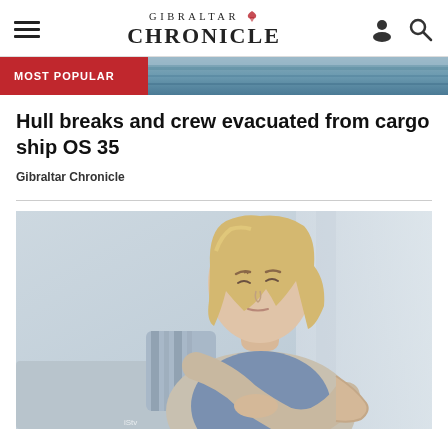Gibraltar Chronicle
[Figure (other): Most Popular banner with ocean/sea image in background]
Hull breaks and crew evacuated from cargo ship OS 35
Gibraltar Chronicle
[Figure (photo): Woman with blonde hair holding her wrist/arm in pain, seated on a couch with a striped pillow behind her]